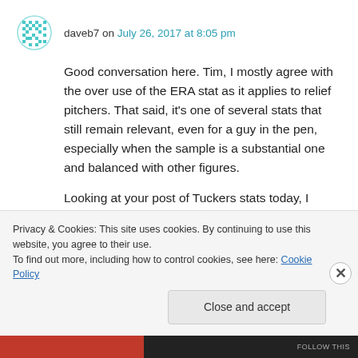daveb7 on July 26, 2017 at 8:05 pm
Good conversation here. Tim, I mostly agree with the over use of the ERA stat as it applies to relief pitchers. That said, it’s one of several stats that still remain relevant, even for a guy in the pen, especially when the sample is a substantial one and balanced with other figures.
Looking at your post of Tuckers stats today, I
Privacy & Cookies: This site uses cookies. By continuing to use this website, you agree to their use.
To find out more, including how to control cookies, see here: Cookie Policy